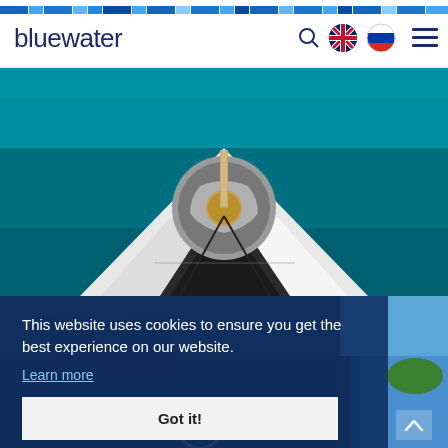[Figure (screenshot): Blue decorative stripe at top of page with alternating shades of blue rectangles]
[Figure (photo): Bluewater website logo and navigation header with search icon, UK flag, Russian flag, and hamburger menu]
[Figure (photo): Aerial/top-down view of a luxury yacht deck showing circular seating area with wood table, on turquoise ocean water]
[Figure (photo): Bottom section showing yacht interior/cockpit with dark blue overlay and cookie consent dialog, and a small yacht on blue water visible on right side]
This website uses cookies to ensure you get the best experience on our website.
Learn more
Got it!